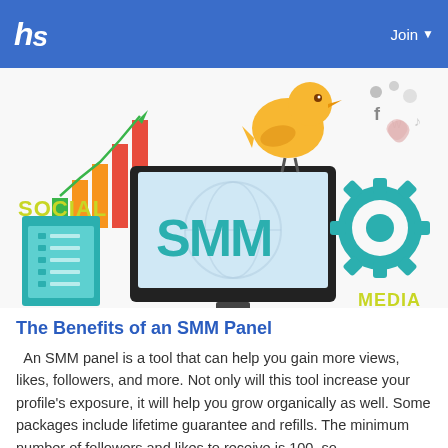hs   Join
[Figure (infographic): Social media marketing (SMM) infographic showing a bar chart with growth trend line, yellow Twitter bird icon, social media icons (F, W, heart), a teal document with checklist, a monitor/tablet displaying 'SMM' in teal letters with a globe watermark, a teal gear icon, and the words 'SOCIAL' and 'MEDIA' in yellow-green text.]
The Benefits of an SMM Panel
An SMM panel is a tool that can help you gain more views, likes, followers, and more. Not only will this tool increase your profile's exposure, it will help you grow organically as well. Some packages include lifetime guarantee and refills. The minimum number of followers and likes to receive is 100, so